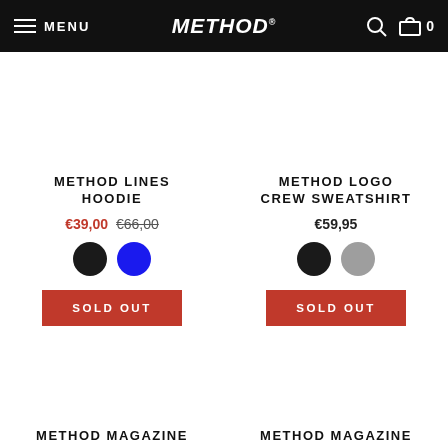MENU / METHOD® / 0
METHOD LINES HOODIE
€39,00 €66,00
SOLD OUT
METHOD LOGO CREW SWEATSHIRT
€59,95
SOLD OUT
METHOD MAGAZINE ISSUE 22.2
METHOD MAGAZINE ISSUE 22.3